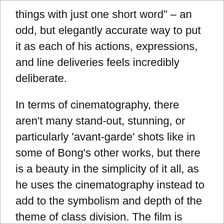things with just one short word" – an odd, but elegantly accurate way to put it as each of his actions, expressions, and line deliveries feels incredibly deliberate.
In terms of cinematography, there aren't many stand-out, stunning, or particularly 'avant-garde' shots like in some of Bong's other works, but there is a beauty in the simplicity of it all, as he uses the cinematography instead to add to the symbolism and depth of the theme of class division. The film is largely set in two interior spaces: the homes of the two families. The dimly lit, bleakly coloured cramped spaces of the semi-basement the Kim family lives in, creates feelings of suffocation and claustrophobia. This contrasts greatly with the